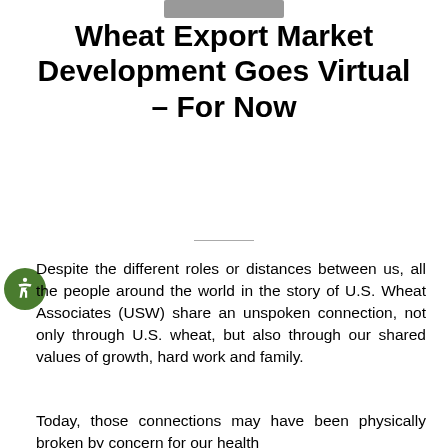Wheat Export Market Development Goes Virtual – For Now
Despite the different roles or distances between us, all the people around the world in the story of U.S. Wheat Associates (USW) share an unspoken connection, not only through U.S. wheat, but also through our shared values of growth, hard work and family.
Today, those connections may have been physically broken by concern for our health